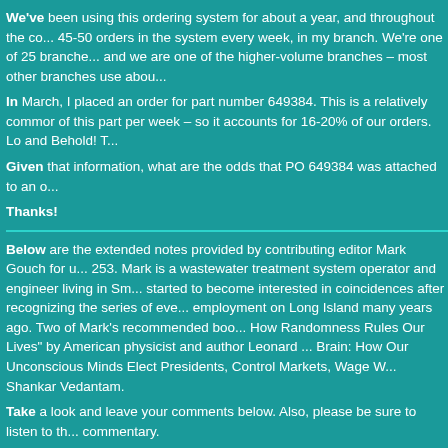We've been using this ordering system for about a year, and throughout the co... 45-50 orders in the system every week, in my branch. We're one of 25 branches and we are one of the higher-volume branches – most other branches use abou...
In March, I placed an order for part number 649384. This is a relatively common of this part per week – so it accounts for 16-20% of our orders. Lo and Behold! T...
Given that information, what are the odds that PO 649384 was attached to an o...
Thanks!
Below are the extended notes provided by contributing editor Mark Gouch for u... 253. Mark is a wastewater treatment system operator and engineer living in Sm... started to become interested in coincidences after recognizing the series of ev... employment on Long Island many years ago. Two of Mark's recommended boo... How Randomness Rules Our Lives" by American physicist and author Leonard ... Brain: How Our Unconscious Minds Elect Presidents, Control Markets, Wage W... Shankar Vedantam.
Take a look and leave your comments below. Also, please be sure to listen to th... commentary.
This problem seemed very straightforward at first, but on closer review it see... interesting hidden in the details Steve provided. Estimating the total number o...